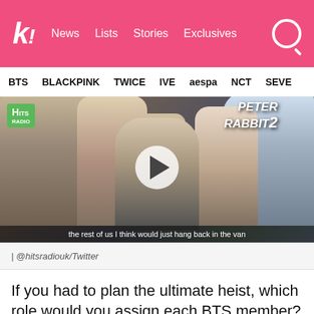K! News Lists Stories Exclusives
BTS BLACKPINK TWICE IVE aespa NCT SEVE
[Figure (screenshot): Video thumbnail showing BTS members and a man, with Peter Rabbit 2 poster in background, Hits Radio badge, play button overlay, and subtitle text 'the rest of us I think would just hang back in the van']
| @hitsradiouk/Twitter
If you had to plan the ultimate heist, which role would you assign each BTS member?